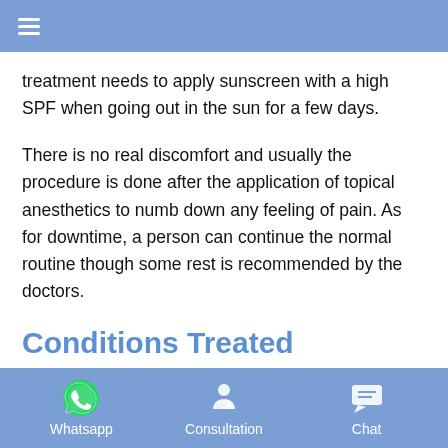≡
treatment needs to apply sunscreen with a high SPF when going out in the sun for a few days.
There is no real discomfort and usually the procedure is done after the application of topical anesthetics to numb down any feeling of pain. As for downtime, a person can continue the normal routine though some rest is recommended by the doctors.
Conditions Treated
There are a number skin conditions that are treated by microdermabrasion treatment. We shall have a brief look into
Whatsapp   Consultation   Chat